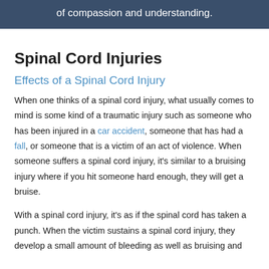of compassion and understanding.
Spinal Cord Injuries
Effects of a Spinal Cord Injury
When one thinks of a spinal cord injury, what usually comes to mind is some kind of a traumatic injury such as someone who has been injured in a car accident, someone that has had a fall, or someone that is a victim of an act of violence. When someone suffers a spinal cord injury, it's similar to a bruising injury where if you hit someone hard enough, they will get a bruise.
With a spinal cord injury, it's as if the spinal cord has taken a punch. When the victim sustains a spinal cord injury, they develop a small amount of bleeding as well as bruising and